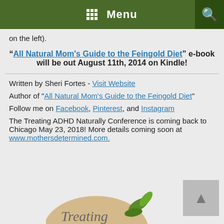Menu
on the left).
"All Natural Mom's Guide to the Feingold Diet" e-book will be out August 11th, 2014 on Kindle!
Written by Sheri Fortes - Visit Website
Author of "All Natural Mom's Guide to the Feingold Diet"
Follow me on Facebook, Pinterest, and Instagram
The Treating ADHD Naturally Conference is coming back to Chicago May 23, 2018! More details coming soon at www.mothersdetermined.com.
[Figure (logo): Treating ADHD Naturally logo with beige oval and green leaves]